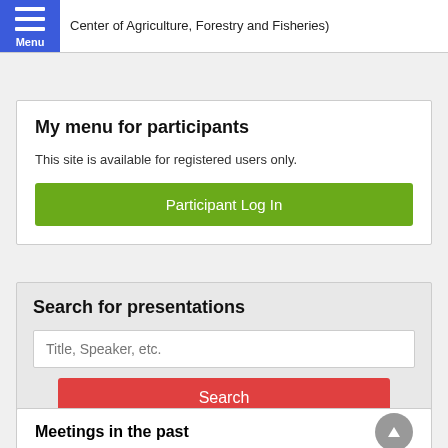Center of Agriculture, Forestry and Fisheries)
My menu for participants
This site is available for registered users only.
Participant Log In
Search for presentations
Title, Speaker, etc.
Search
» Advanced Search
Meetings in the past